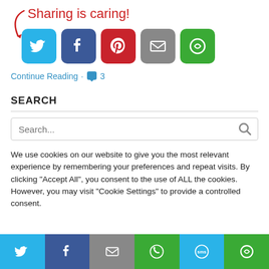[Figure (infographic): Sharing is caring label with red arrow and social share buttons: Twitter (blue), Facebook (dark blue), Pinterest (red), Email (gray), More (green)]
Continue Reading · 3
SEARCH
Search...
We use cookies on our website to give you the most relevant experience by remembering your preferences and repeat visits. By clicking "Accept All", you consent to the use of ALL the cookies. However, you may visit "Cookie Settings" to provide a controlled consent.
[Figure (infographic): Bottom share bar with Twitter, Facebook, Email, WhatsApp, SMS, More buttons]